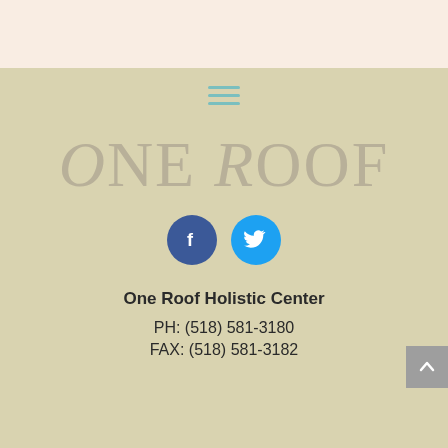[Figure (logo): Top pinkish-beige header bar]
[Figure (other): Three-line hamburger menu icon in teal/aqua color]
ONE ROOF
[Figure (other): Facebook and Twitter social media icon buttons]
One Roof Holistic Center
PH: (518) 581-3180
FAX: (518) 581-3182